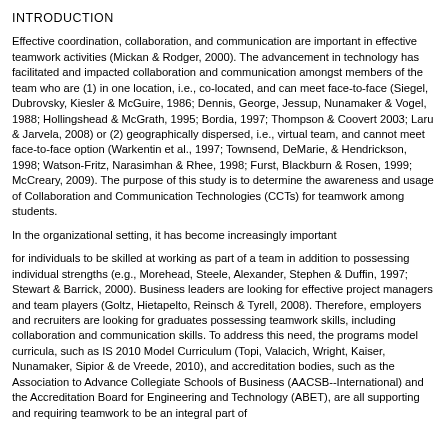INTRODUCTION
Effective coordination, collaboration, and communication are important in effective teamwork activities (Mickan & Rodger, 2000). The advancement in technology has facilitated and impacted collaboration and communication amongst members of the team who are (1) in one location, i.e., co-located, and can meet face-to-face (Siegel, Dubrovsky, Kiesler & McGuire, 1986; Dennis, George, Jessup, Nunamaker & Vogel, 1988; Hollingshead & McGrath, 1995; Bordia, 1997; Thompson & Coovert 2003; Laru & Jarvela, 2008) or (2) geographically dispersed, i.e., virtual team, and cannot meet face-to-face option (Warkentin et al., 1997; Townsend, DeMarie, & Hendrickson, 1998; Watson-Fritz, Narasimhan & Rhee, 1998; Furst, Blackburn & Rosen, 1999; McCreary, 2009). The purpose of this study is to determine the awareness and usage of Collaboration and Communication Technologies (CCTs) for teamwork among students.
In the organizational setting, it has become increasingly important
for individuals to be skilled at working as part of a team in addition to possessing individual strengths (e.g., Morehead, Steele, Alexander, Stephen & Duffin, 1997; Stewart & Barrick, 2000). Business leaders are looking for effective project managers and team players (Goltz, Hietapelto, Reinsch & Tyrell, 2008). Therefore, employers and recruiters are looking for graduates possessing teamwork skills, including collaboration and communication skills. To address this need, the programs model curricula, such as IS 2010 Model Curriculum (Topi, Valacich, Wright, Kaiser, Nunamaker, Sipior & de Vreede, 2010), and accreditation bodies, such as the Association to Advance Collegiate Schools of Business (AACSB--International) and the Accreditation Board for Engineering and Technology (ABET), are all supporting and requiring teamwork to be an integral part of